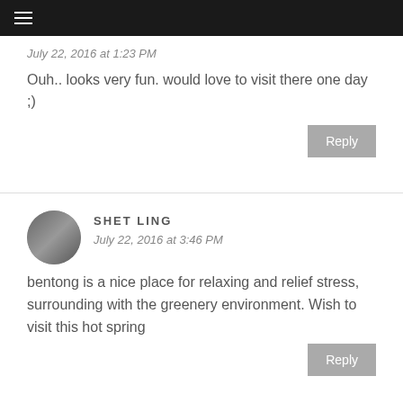☰
July 22, 2016 at 1:23 PM
Ouh.. looks very fun. would love to visit there one day ;)
SHET LING
July 22, 2016 at 3:46 PM
bentong is a nice place for relaxing and relief stress, surrounding with the greenery environment. Wish to visit this hot spring